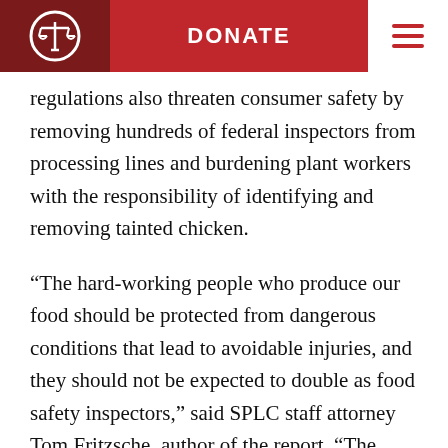DONATE
regulations also threaten consumer safety by removing hundreds of federal inspectors from processing lines and burdening plant workers with the responsibility of identifying and removing tainted chicken.
“The hard-working people who produce our food should be protected from dangerous conditions that lead to avoidable injuries, and they should not be expected to double as food safety inspectors,” said SPLC staff attorney Tom Fritzsche, author of the report. “The current system may be profitable for the poultry